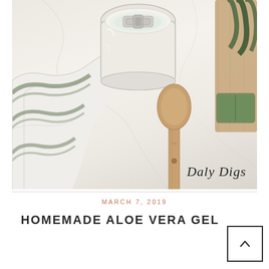[Figure (photo): Flat lay photo showing a glass jar with white/green gel, a folded white kitchen towel with green stripes, a wooden spoon, a wooden cutting board, and aloe plant leaves on a white marble surface. Watermark reads 'Daly Digs' in cursive at bottom right.]
MARCH 7, 2019
HOMEMADE ALOE VERA GEL